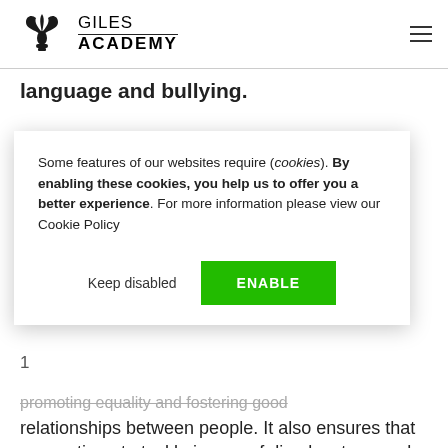Giles Academy
language and bullying.
[Figure (screenshot): Cookie consent dialog box with text 'Some features of our websites require (cookies). By enabling these cookies, you help us to offer you a better experience. For more information please view our Cookie Policy' and two buttons: 'Keep disabled' and 'ENABLE' (green button)]
promoting equality and fostering good relationships between people. It also ensures that we continue to tackle issues of disadvantage and underachievement of different groups.